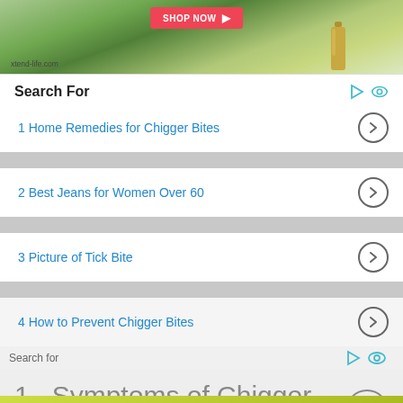[Figure (photo): Advertisement banner for xtend-life.com showing a shop now button, a golden bottle product, and green plant background]
Search For
1 Home Remedies for Chigger Bites
2 Best Jeans for Women Over 60
3 Picture of Tick Bite
4 How to Prevent Chigger Bites
Search for
1.  Symptoms of Chigger Bites